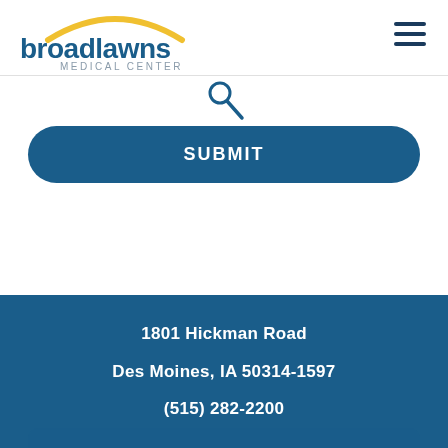[Figure (logo): Broadlawns Medical Center logo with yellow arc above blue text]
[Figure (other): Dark blue hamburger menu icon (three horizontal lines) in top right]
[Figure (other): Dark blue search cursor/pointer icon]
SUBMIT
1801 Hickman Road
Des Moines, IA 50314-1597
(515) 282-2200